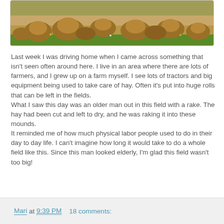[Figure (photo): Field with hay mounds/haystacks on dry grass, with green grass strip at bottom and trees in background]
Last week I was driving home when I came across something that isn't seen often around here.  I live in an area where there are lots of farmers, and I grew up on a farm myself.  I see lots of tractors and big equipment being used to take care of hay.  Often it's put into huge rolls that can be left in the fields.
What I saw this day was an older man out in this field with a rake.  The hay had been cut and left to dry, and he was raking it into these mounds.
It reminded me of how much physical labor people used to do in their day to day life.  I can't imagine how long it would take to do a whole field like this.  Since this man looked elderly, I'm glad this field wasn't too big!
Mari at 9:39 PM    18 comments: